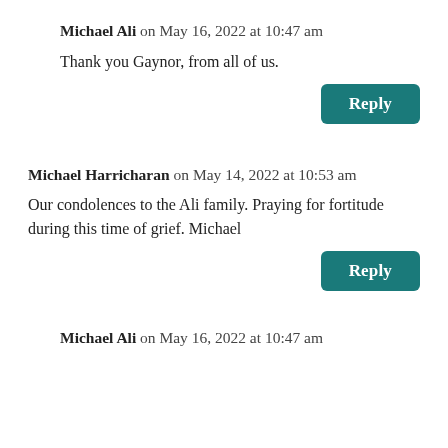Michael Ali on May 16, 2022 at 10:47 am
Thank you Gaynor, from all of us.
Reply
Michael Harricharan on May 14, 2022 at 10:53 am
Our condolences to the Ali family. Praying for fortitude during this time of grief. Michael
Reply
Michael Ali on May 16, 2022 at 10:47 am